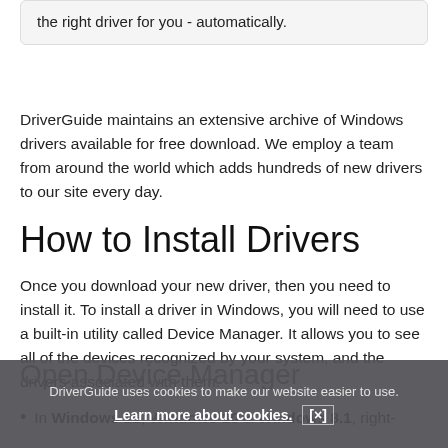the right driver for you - automatically.
DriverGuide maintains an extensive archive of Windows drivers available for free download. We employ a team from around the world which adds hundreds of new drivers to our site every day.
How to Install Drivers
Once you download your new driver, then you need to install it. To install a driver in Windows, you will need to use a built-in utility called Device Manager. It allows you to see all of the devices recognized by your system, and the drivers associated with them.
Open Device Manager
In Windows 11, Windows 10 & Windows 8.1, right-
DriverGuide uses cookies to make our website easier to use.
Learn more about cookies.  [×]